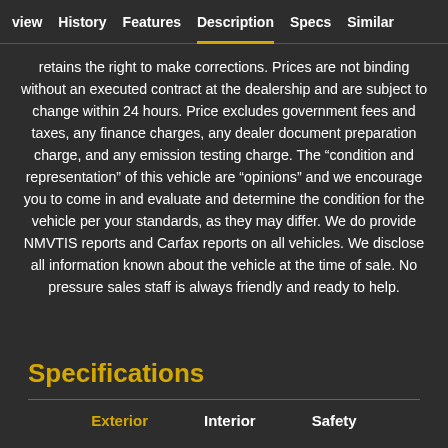view  History  Features  Description  Specs  Similar
retains the right to make corrections. Prices are not binding without an executed contract at the dealership and are subject to change within 24 hours. Price excludes government fees and taxes, any finance charges, any dealer document preparation charge, and any emission testing charge. The “condition and representation” of this vehicle are “opinions” and we encourage you to come in and evaluate and determine the condition for the vehicle per your standards, as they may differ. We do provide NMVTIS reports and Carfax reports on all vehicles. We disclose all information known about the vehicle at the time of sale. No pressure sales staff is always friendly and ready to help.
Specifications
Exterior  Interior  Safety